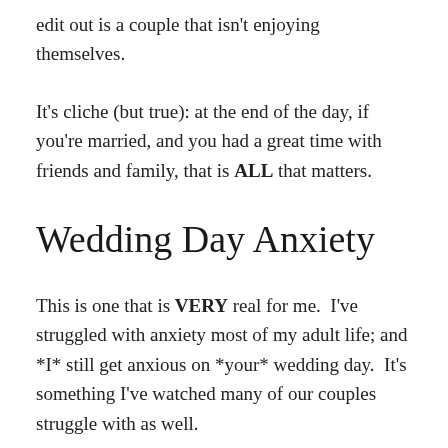edit out is a couple that isn't enjoying themselves.
It's cliche (but true): at the end of the day, if you're married, and you had a great time with friends and family, that is ALL that matters.
Wedding Day Anxiety
This is one that is VERY real for me.  I've struggled with anxiety most of my adult life; and *I* still get anxious on *your* wedding day.  It's something I've watched many of our couples struggle with as well.
If you're a person who struggles with anxiety, you